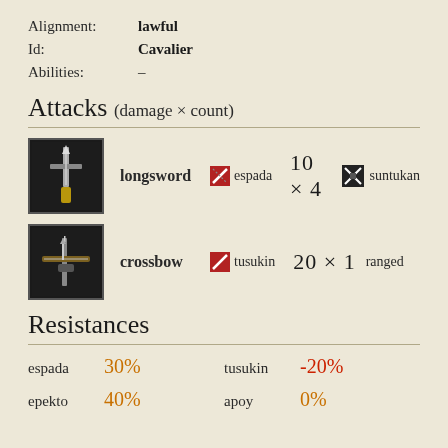Alignment: lawful
Id: Cavalier
Abilities: –
Attacks (damage × count)
longsword  espada  10 × 4  suntukan
crossbow  tusukin  20 × 1  ranged
Resistances
| Type | Value |
| --- | --- |
| espada | 30% |
| tusukin | -20% |
| epekto | 40% |
| apoy | 0% |